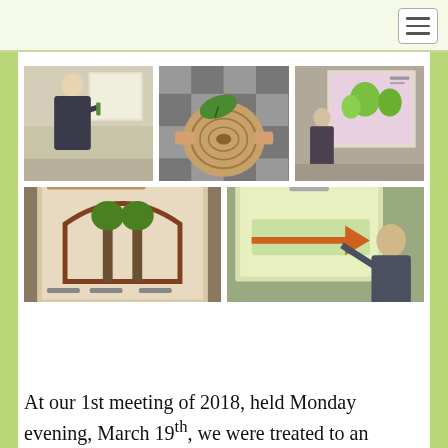[Figure (photo): Navigation bar with hamburger menu button in top right corner]
[Figure (photo): Row of three photos: a man speaking at a presentation, hands holding a cross-section of a tree branch with a leaf, and a man standing next to a projected slide showing plant diagrams]
[Figure (photo): Row of two photos: a projected slide showing tree/plant structure diagrams, and a presenter pointing at a projected slide]
At our 1st meeting of 2018, held Monday evening, March 19th, we were treated to an